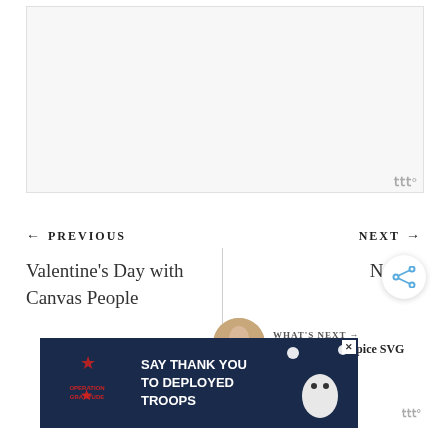[Figure (other): Light gray empty content placeholder box]
ꟿꟿꟿ°
← PREVIOUS
NEXT →
Valentine's Day with Canvas People
Next P
[Figure (other): Share icon button (three circles connected)]
WHAT'S NEXT → Free Pumpkin Spice SVG
[Figure (other): Advertisement banner: SAY THANK YOU TO DEPLOYED TROOPS - Operation Gratitude]
ꟿꟿꟿ°